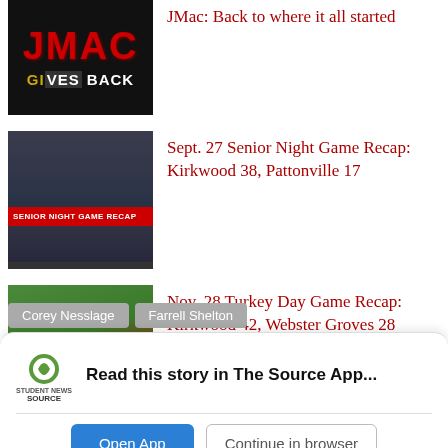[Figure (photo): JMac Gives Back article thumbnail - black background with JMAC text in red and GIVES BACK in white/gold]
JMac: Back to where it all started
[Figure (photo): Senior Night Game Recap thumbnail - football players with red SENIOR NIGHT GAME RECAP label]
Sept. 27 Senior Night Game Recap: Kirkwood 38, Pattonville 17
[Figure (photo): Turkey Day Game Recap thumbnail - football players on field]
Nov. 28 Turkey Day Game Recap: Kirkwood 42, Webster Groves 28
Corey Nesslage
Farrell Shelton
Read this story in The Source App...
Open App
Continue in browser